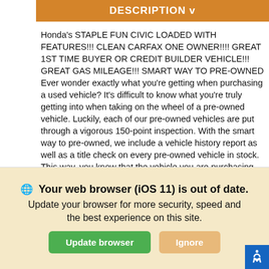DESCRIPTION v
Honda's STAPLE FUN CIVIC LOADED WITH FEATURES!!! CLEAN CARFAX ONE OWNER!!!! GREAT 1ST TIME BUYER OR CREDIT BUILDER VEHICLE!!! GREAT GAS MILEAGE!!! SMART WAY TO PRE-OWNED Ever wonder exactly what you're getting when purchasing a used vehicle? It's difficult to know what you're truly getting into when taking on the wheel of a pre-owned vehicle. Luckily, each of our pre-owned vehicles are put through a vigorous 150-point inspection. With the smart way to pre-owned, we include a vehicle history report as well as a title check on every pre-owned vehicle in stock. This way, you know that the vehicle you are purchasing has not been affected by circumstances such as natural disasters (i.e. Hurricane Harvey and Irma), Odometer rollback, Factory Lemon-Law Buyback, Salvage/Rebuilds, Washed Title and road accidents. With the smart way to pre-owned, you and your passengers can feel safe in the seats of your newly-bought pre-owned vehicle. We
🌐 Your web browser (iOS 11) is out of date. Update your browser for more security, speed and the best experience on this site.